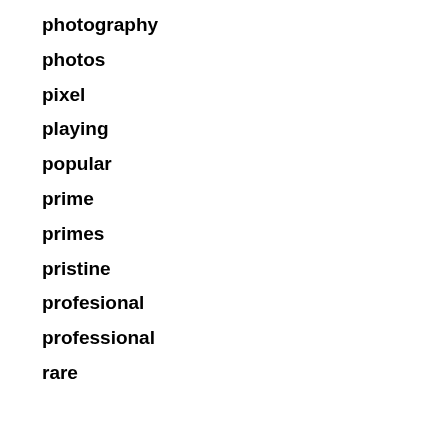photography
photos
pixel
playing
popular
prime
primes
pristine
profesional
professional
rare